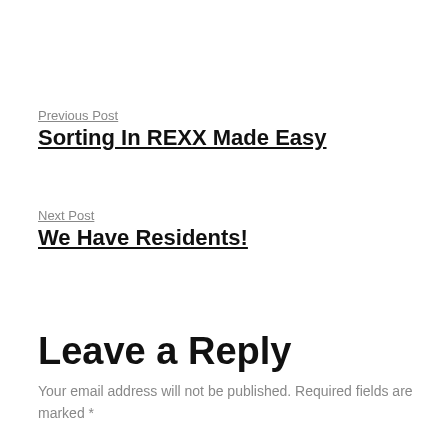Previous Post
Sorting In REXX Made Easy
Next Post
We Have Residents!
Leave a Reply
Your email address will not be published. Required fields are marked *